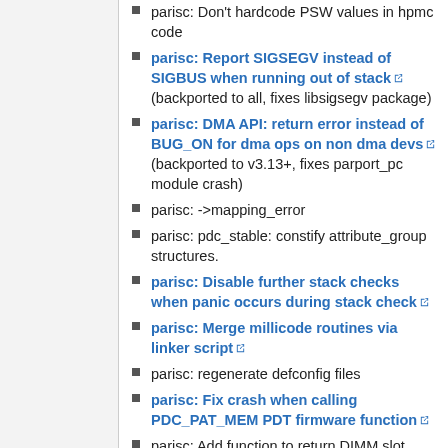parisc: Don't hardcode PSW values in hpmc code
parisc: Report SIGSEGV instead of SIGBUS when running out of stack [link] (backported to all, fixes libsigsegv package)
parisc: DMA API: return error instead of BUG_ON for dma ops on non dma devs [link] (backported to v3.13+, fixes parport_pc module crash)
parisc: ->mapping_error
parisc: pdc_stable: constify attribute_group structures.
parisc: Disable further stack checks when panic occurs during stack check [link]
parisc: Merge millicode routines via linker script [link]
parisc: regenerate defconfig files
parisc: Fix crash when calling PDC_PAT_MEM PDT firmware function [link]
parisc: Add function to return DIMM slot